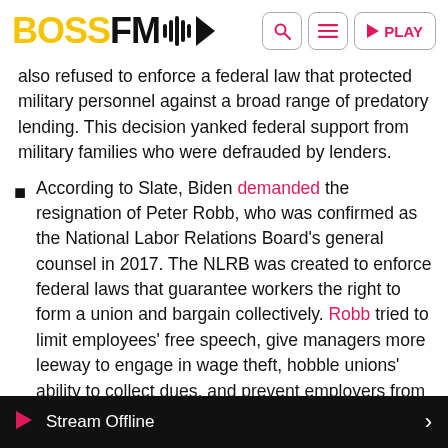BOSSFM [logo with waveform icon] | Search | Menu | PLAY
also refused to enforce a federal law that protected military personnel against a broad range of predatory lending. This decision yanked federal support from military families who were defrauded by lenders.
According to Slate, Biden demanded the resignation of Peter Robb, who was confirmed as the National Labor Relations Board's general counsel in 2017. The NLRB was created to enforce federal laws that guarantee workers the right to form a union and bargain collectively. Robb tried to limit employees' free speech, give managers more leeway to engage in wage theft, hobble unions' ability to collect dues, and prevent employers from helping workers organize. He also tried to seize near-total control of the agency by demoting every regional director
▶  Stream Offline  ›